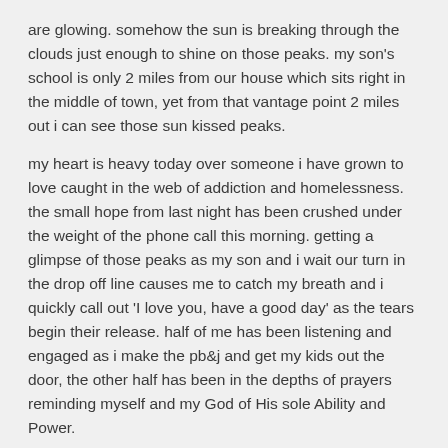are glowing.  somehow the sun is breaking through the clouds just enough to shine on those peaks.  my son's school is only 2 miles from our house which sits right in the middle of town,  yet from that vantage point 2 miles out i can see those sun kissed peaks.
my heart is heavy today over someone i have grown to love caught in the web of addiction and homelessness.  the small hope from last night has been crushed under the weight of the phone call this morning.  getting a glimpse of those peaks as my son and i wait our turn in the drop off line causes me to catch my breath and  i quickly call out 'I love you, have a good day' as the tears begin their release.  half of me has been listening and engaged as i make the pb&j and get my kids out the door, the other half has been in the depths of prayers reminding myself and my God of His sole Ability and Power.